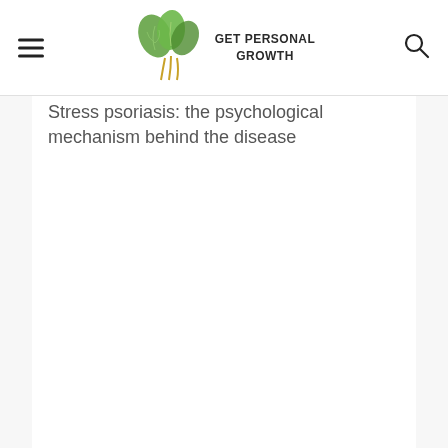GET PERSONAL GROWTH
Stress psoriasis: the psychological mechanism behind the disease